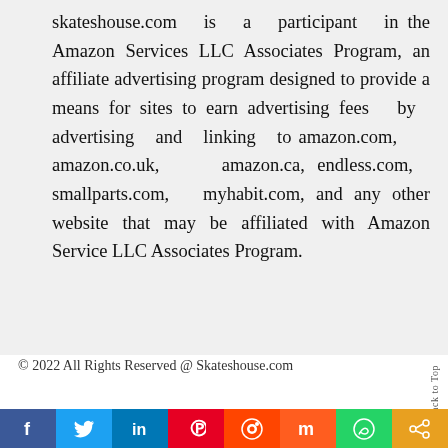skateshouse.com is a participant in the Amazon Services LLC Associates Program, an affiliate advertising program designed to provide a means for sites to earn advertising fees by advertising and linking to amazon.com, amazon.co.uk, amazon.ca, endless.com, smallparts.com, myhabit.com, and any other website that may be affiliated with Amazon Service LLC Associates Program.
© 2022 All Rights Reserved @ Skateshouse.com